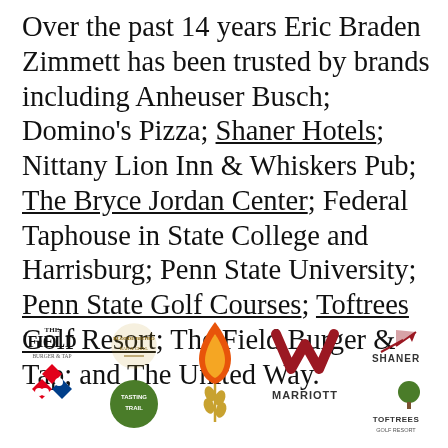Over the past 14 years Eric Braden Zimmett has been trusted by brands including Anheuser Busch; Domino's Pizza; Shaner Hotels; Nittany Lion Inn & Whiskers Pub; The Bryce Jordan Center; Federal Taphouse in State College and Harrisburg; Penn State University; Penn State Golf Courses; Toftrees Golf Resort; The Field Burger & Tap; and The United Way.
[Figure (logo): Brand logos: The Field Burger & Tap, Blonde Bistro, Tasting Trail, Federal Taphouse, Marriott, Shaner Hotels, Toftrees Golf Resort, Domino's Pizza]